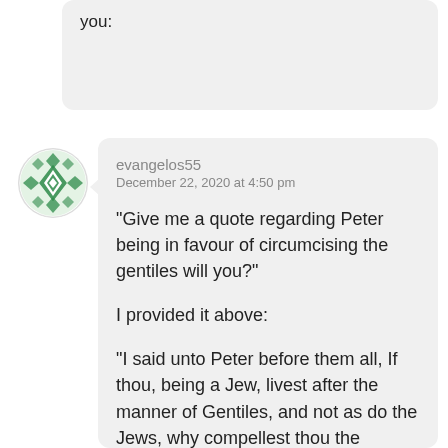you:
[Figure (illustration): Green geometric patterned circular avatar icon for user evangelos55]
evangelos55
December 22, 2020 at 4:50 pm

“Give me a quote regarding Peter being in favour of circumcising the gentiles will you?”

I provided it above:

“I said unto Peter before them all, If thou, being a Jew, livest after the manner of Gentiles, and not as do the Jews, why compellest thou the Gentiles